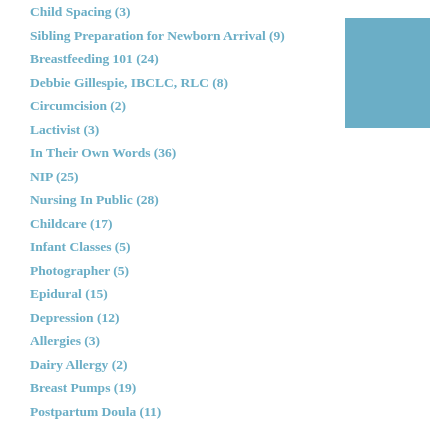Child Spacing (3)
Sibling Preparation for Newborn Arrival (9)
Breastfeeding 101 (24)
Debbie Gillespie, IBCLC, RLC (8)
Circumcision (2)
Lactivist (3)
In Their Own Words (36)
NIP (25)
Nursing In Public (28)
Childcare (17)
Infant Classes (5)
Photographer (5)
Epidural (15)
Depression (12)
Allergies (3)
Dairy Allergy (2)
Breast Pumps (19)
Postpartum Doula (11)
[Figure (illustration): A solid steel blue rectangle/box in the upper right corner of the page]